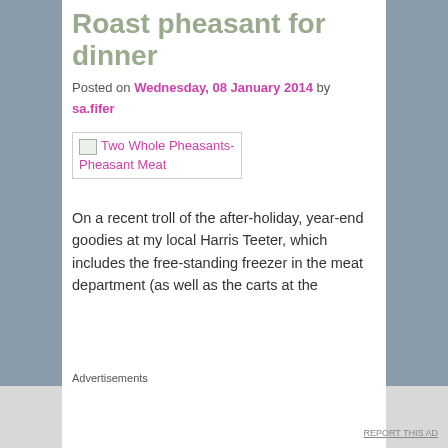Roast pheasant for dinner
Posted on Wednesday, 08 January 2014 by sa.fifer
[Figure (photo): Broken image placeholder labeled 'Two Whole Pheasants- Pheasant Meat']
On a recent troll of the after-holiday, year-end goodies at my local Harris Teeter, which includes the free-standing freezer in the meat department (as well as the carts at the
Advertisements